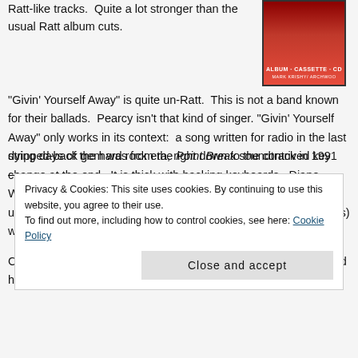Ratt-like tracks.  Quite a lot stronger than the usual Ratt album cuts.
[Figure (photo): Album/cassette/CD cover with red and dark background, text reading ALBUM · CASSETTE · CD]
"Givin' Yourself Away" is quite un-Ratt.  This is not a band known for their ballads.  Pearcy isn't that kind of singer. "Givin' Yourself Away" only works in its context:  a song written for radio in the last dying days of the hard rock era, right down to the contrived key change at the end.  It is thick with backing keyboards.  Diane Warren and Desmond Child co-wrote it with Pearcy, so you can use your imagination.  The people it was written for (Bon Jovi fans) will love it.
Closer "Top Secret" is closest in sound to old-school Ratt.  It could have been on Out of the Cellar for the vibe it exudes.
Privacy & Cookies: This site uses cookies. By continuing to use this website, you agree to their use.
To find out more, including how to control cookies, see here: Cookie Policy
Close and accept
stripped-back gem was from the Point Break soundtrack in 1991 —